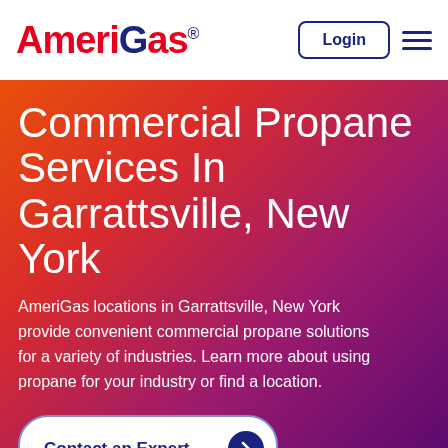AmeriGas® — Login | Navigation menu
Commercial Propane Services In Garrattsville, New York
AmeriGas locations in Garrattsville, New York provide convenient commercial propane solutions for a variety of industries. Learn more about using propane for your industry or find a location.
Contact an Expert
Existing Customers